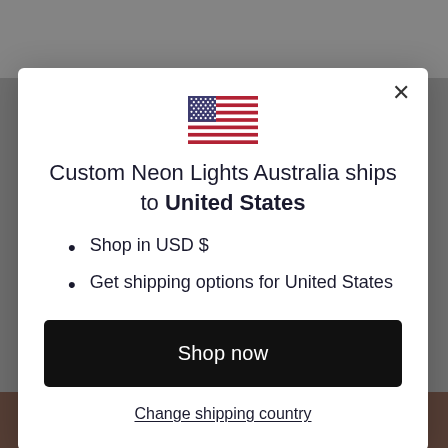[Figure (screenshot): Background showing blurred neon lights product photo at top and orange flowers/neon at bottom, with dark overlay, behind a white modal dialog]
[Figure (illustration): USA flag illustration showing blue canton with white stars and red and white horizontal stripes]
Custom Neon Lights Australia ships to United States
Shop in USD $
Get shipping options for United States
Shop now
Change shipping country